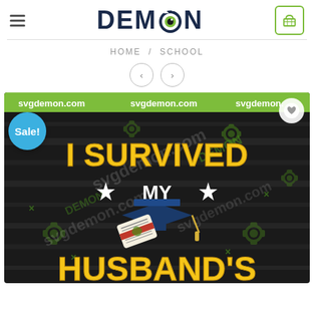DEMON - SVG store header with hamburger menu and cart icon
HOME / SCHOOL
[Figure (screenshot): Product image for 'I Survived My Husband's...' SVG design on dark background with graduation cap and diploma. Watermarked with svgdemon.com. Green monster/gear decorations scattered throughout. Yellow and white text reading 'I SURVIVED MY' with stars, graduation cap with diploma, and 'HUSBAND'S' text. Sale badge in blue circle top-left.]